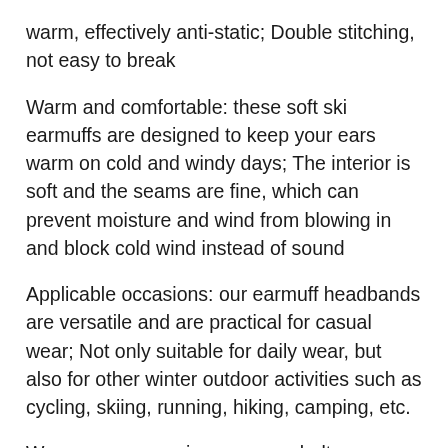warm, effectively anti-static; Double stitching, not easy to break
Warm and comfortable: these soft ski earmuffs are designed to keep your ears warm on cold and windy days; The interior is soft and the seams are fine, which can prevent moisture and wind from blowing in and block cold wind instead of sound
Applicable occasions: our earmuff headbands are versatile and are practical for casual wear; Not only suitable for daily wear, but also for other winter outdoor activities such as cycling, skiing, running, hiking, camping, etc.
Womens accessories, womens belts, womens sunglasses, womens scarves, womens hats